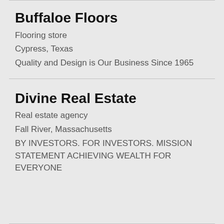Buffaloe Floors
Flooring store
Cypress, Texas
Quality and Design is Our Business Since 1965
Divine Real Estate
Real estate agency
Fall River, Massachusetts
BY INVESTORS. FOR INVESTORS. MISSION STATEMENT ACHIEVING WEALTH FOR EVERYONE